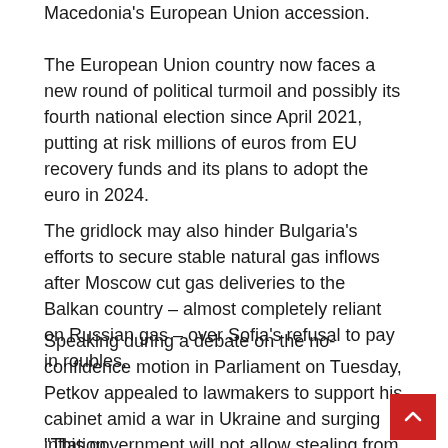Macedonia's European Union accession.
The European Union country now faces a new round of political turmoil and possibly its fourth national election since April 2021, putting at risk millions of euros from EU recovery funds and its plans to adopt the euro in 2024.
The gridlock may also hinder Bulgaria's efforts to secure stable natural gas inflows after Moscow cut gas deliveries to the Balkan country – almost completely reliant on Russian gas – over Sofia's refusal to pay in roubles.
Speaking during a debate on the no-confidence motion in Parliament on Tuesday, Petkov appealed to lawmakers to support his cabinet amid a war in Ukraine and surging inflation.
“This government will not allow stealing from Bulgarian